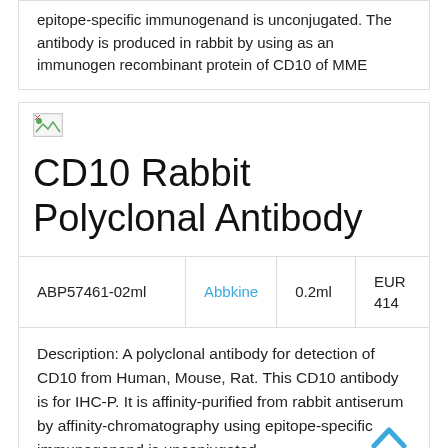epitope-specific immunogenand is unconjugated. The antibody is produced in rabbit by using as an immunogen recombinant protein of CD10 of MME
[Figure (logo): Small image/logo placeholder with broken image icon]
CD10 Rabbit Polyclonal Antibody
| ABP57461-02ml | Abbkine | 0.2ml | EUR 414 |
Description: A polyclonal antibody for detection of CD10 from Human, Mouse, Rat. This CD10 antibody is for IHC-P. It is affinity-purified from rabbit antiserum by affinity-chromatography using epitope-specific immunogenand is unconjugated.